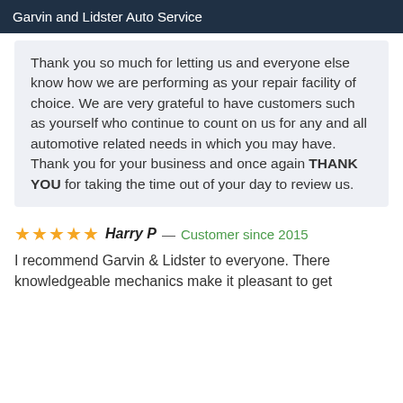Garvin and Lidster Auto Service
Thank you so much for letting us and everyone else know how we are performing as your repair facility of choice. We are very grateful to have customers such as yourself who continue to count on us for any and all automotive related needs in which you may have. Thank you for your business and once again THANK YOU for taking the time out of your day to review us.
★★★★★ Harry P — Customer since 2015
I recommend Garvin & Lidster to everyone. There knowledgeable mechanics make it pleasant to get